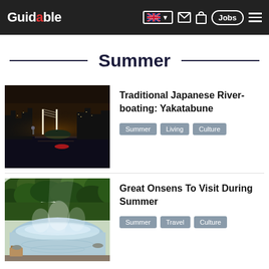Guidable — navigation header with logo, UK flag language selector, mail icon, bag icon, Jobs button, hamburger menu
Summer
[Figure (photo): Night cityscape of Tokyo with Rainbow Bridge illuminated, boats on water and small island visible]
Traditional Japanese River-boating: Yakatabune
Summer
Living
Culture
[Figure (photo): Outdoor onsen hot spring bath surrounded by lush green trees with mist/steam rising from the water]
Great Onsens To Visit During Summer
Summer
Travel
Culture